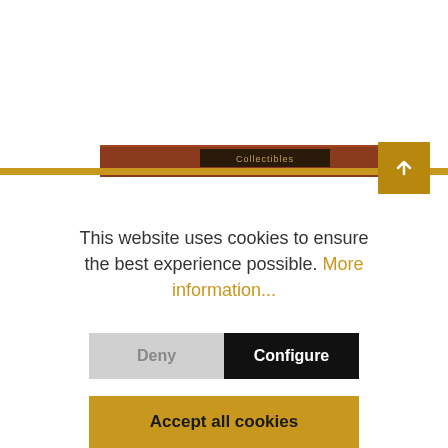[Figure (screenshot): Website screenshot showing a gold horizontal navigation bar with a book/shelf graphic element and a gold scroll-to-top button with an upward arrow on the right side.]
This website uses cookies to ensure the best experience possible. More information...
Deny
Configure
Accept all cookies